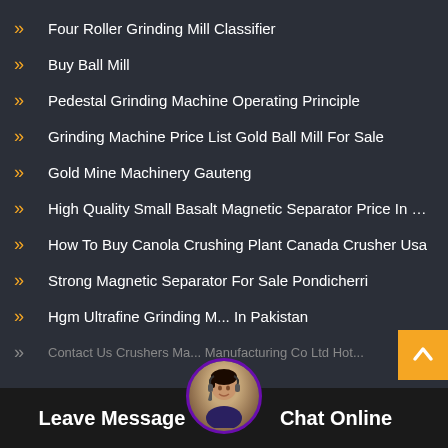Four Roller Grinding Mill Classifier
Buy Ball Mill
Pedestal Grinding Machine Operating Principle
Grinding Machine Price List Gold Ball Mill For Sale
Gold Mine Machinery Gauteng
High Quality Small Basalt Magnetic Separator Price In Pak...
How To Buy Canola Crushing Plant Canada Crusher Usa
Strong Magnetic Separator For Sale Pondicherri
Hgm Ultrafine Grinding M... In Pakistan
Contact Us Crushers Ma... Manufacturing Co Ltd Hot...